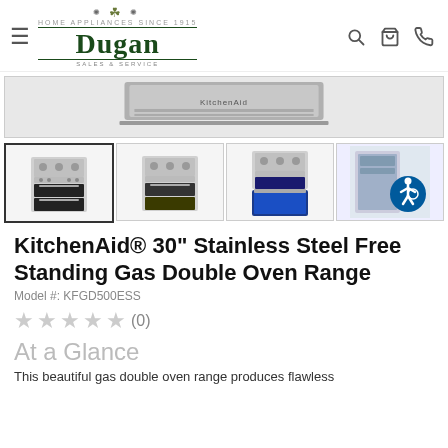Dugan Home Appliances Since 1915 - Sales & Service
[Figure (photo): KitchenAid range hood / top of stove product hero image]
[Figure (photo): Thumbnail 1: KitchenAid 30 inch stainless steel free standing gas double oven range, front view]
[Figure (photo): Thumbnail 2: KitchenAid 30 inch stainless steel free standing gas double oven range, front view alternate]
[Figure (photo): Thumbnail 3: KitchenAid 30 inch stainless steel free standing gas double oven range, open oven door blue interior]
[Figure (photo): Thumbnail 4: KitchenAid range interior detail with accessibility icon overlay]
KitchenAid® 30" Stainless Steel Free Standing Gas Double Oven Range
Model #: KFGD500ESS
★★★★★ (0)
At a Glance
This beautiful gas double oven range produces flawless